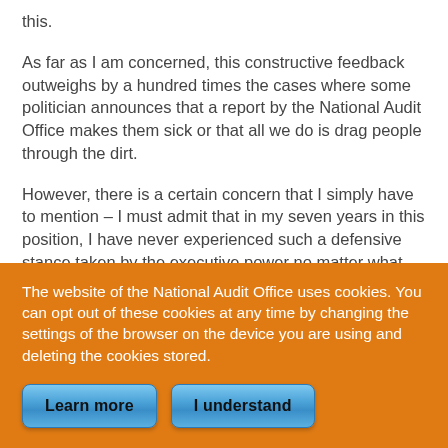this.
As far as I am concerned, this constructive feedback outweighs by a hundred times the cases where some politician announces that a report by the National Audit Office makes them sick or that all we do is drag people through the dirt.
However, there is a certain concern that I simply have to mention – I must admit that in my seven years in this position, I have never experienced such a defensive stance taken by the executive power no matter what the problem that the National Audit Office highlights.
The website of the National Audit Office uses cookies. You can opt out of these cookies at any time by changing the settings of the browser on the device you are using and deleting the cookies stored.
Learn more
I understand